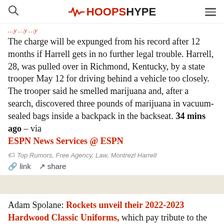HoopsHype
The charge will be expunged from his record after 12 months if Harrell gets in no further legal trouble. Harrell, 28, was pulled over in Richmond, Kentucky, by a state trooper May 12 for driving behind a vehicle too closely. The trooper said he smelled marijuana and, after a search, discovered three pounds of marijuana in vacuum-sealed bags inside a backpack in the backseat. 34 mins ago – via ESPN News Services @ ESPN
Top Rumors, Free Agency, Law, Montrezl Harrell
link  share
Adam Spolane: Rockets unveil their 2022-2023 Hardwood Classic Uniforms, which pay tribute to the San Diego days pic.twitter.com/Sjgyl8aJgb
http://twitter.com/AdamSpolane/status/156497932265349